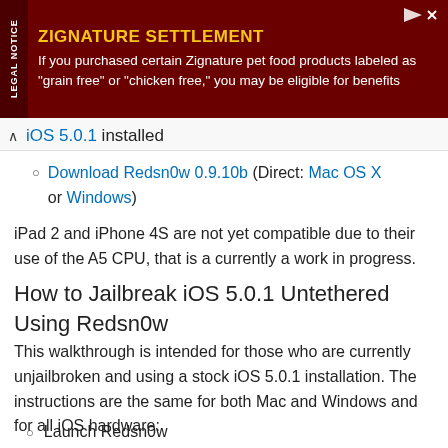[Figure (other): Advertisement banner for Zignature Settlement with dark red background. Title: 'ZIGNATURE SETTLEMENT'. Body: 'If you purchased certain Zignature pet food products labeled as "grain free" or "chicken free," you may be eligible for benefits']
iOS 5.0.1 installed
Download Redsn0w 0.9.10b (Direct: Mac OS X or Windows)
iPad 2 and iPhone 4S are not yet compatible due to their use of the A5 CPU, that is a currently a work in progress.
How to Jailbreak iOS 5.0.1 Untethered Using Redsn0w
This walkthrough is intended for those who are currently unjailbroken and using a stock iOS 5.0.1 installation. The instructions are the same for both Mac and Windows and for all iOS hardware:
Launch Redsn0w